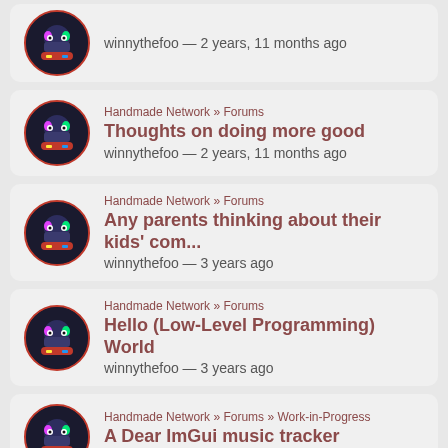winnythefoo — 2 years, 11 months ago
Handmade Network » Forums
Thoughts on doing more good
winnythefoo — 2 years, 11 months ago
Handmade Network » Forums
Any parents thinking about their kids' com...
winnythefoo — 3 years ago
Handmade Network » Forums
Hello (Low-Level Programming) World
winnythefoo — 3 years ago
Handmade Network » Forums » Work-in-Progress
A Dear ImGui music tracker
winnythefoo — 3 years ago